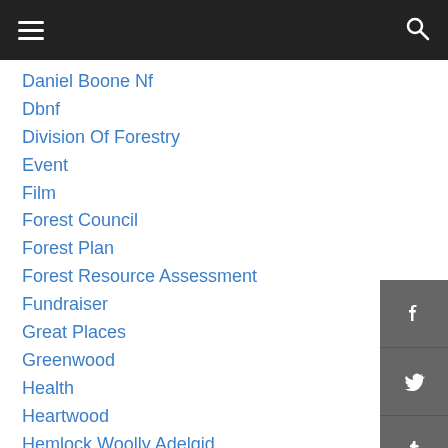Daniel Boone Nf
Dbnf
Division Of Forestry
Event
Film
Forest Council
Forest Plan
Forest Resource Assessment
Fundraiser
Great Places
Greenwood
Health
Heartwood
Hemlock Woolly Adelgid
Horses
Invasive Plants
Landfill
Litigation
Logging